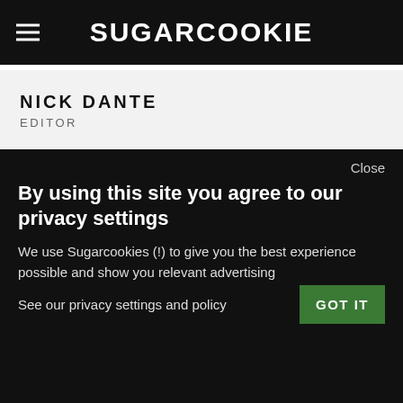SUGARCOOKIE
NICK DANTE
EDITOR
Close
By using this site you agree to our privacy settings
We use Sugarcookies (!) to give you the best experience possible and show you relevant advertising
See our privacy settings and policy
GOT IT